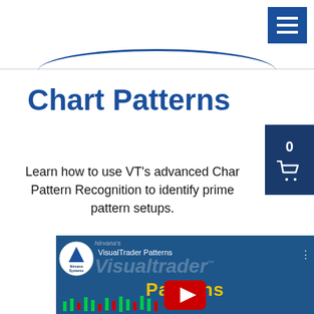[Figure (screenshot): Navigation hamburger menu button (dark blue) in top right corner]
Chart Patterns
Learn how to use VT's advanced Chart Pattern Recognition to identify prime pattern setups.
[Figure (screenshot): Shopping cart icon button (dark blue) with 0 count, positioned on right side]
[Figure (screenshot): Video thumbnail for 'VisualTrader Patterns' by Nirvana Systems showing the VisualTrader logo and Patterns text in yellow]